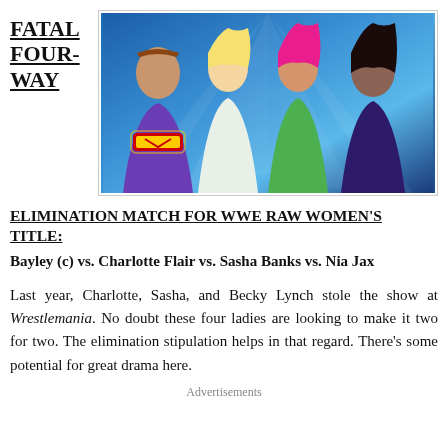FATAL FOUR-WAY
[Figure (photo): Four WWE women wrestlers: Bayley holding the Raw Women's Championship belt, Charlotte Flair, Sasha Banks, and Nia Jax posed against a blue background]
ELIMINATION MATCH FOR WWE RAW WOMEN'S TITLE:
Bayley (c) vs. Charlotte Flair vs. Sasha Banks vs. Nia Jax
Last year, Charlotte, Sasha, and Becky Lynch stole the show at Wrestlemania. No doubt these four ladies are looking to make it two for two. The elimination stipulation helps in that regard. There's some potential for great drama here.
Advertisements